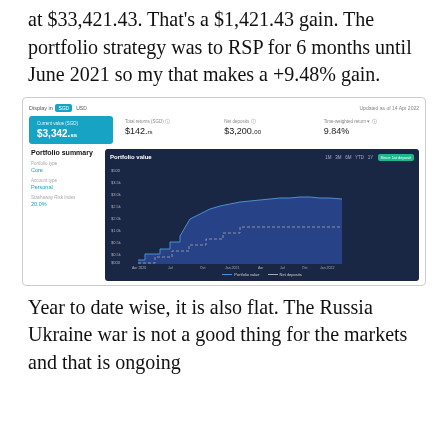at $33,421.43. That's a $1,421.43 gain. The portfolio strategy was to RSP for 6 months until June 2021 so my that makes a +9.48% gain.
[Figure (screenshot): Investment portfolio dashboard screenshot showing current value $3,342.ss, total returns $142.rs, net deposits $3,200.00, time-weighted return 9.84%, with a portfolio value area chart from Apr 2020 to Apr 2022 on dark blue background showing stepped growth pattern.]
Year to date wise, it is also flat. The Russia Ukraine war is not a good thing for the markets and that is ongoing